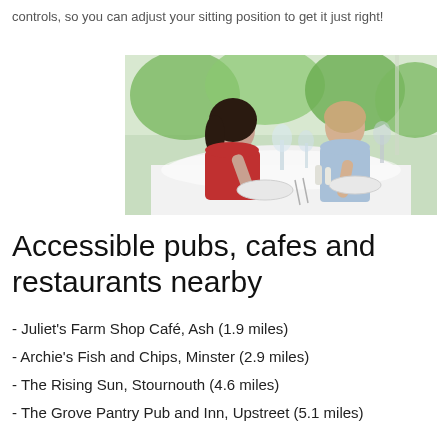controls, so you can adjust your sitting position to get it just right!
[Figure (photo): A man and a woman dining together at a restaurant. The woman is in a red sleeveless top and the man is in a light blue shirt. They are seated at a white-clothed table with wine glasses and plates. Background shows greenery through large windows.]
Accessible pubs, cafes and restaurants nearby
- Juliet's Farm Shop Café, Ash (1.9 miles)
- Archie's Fish and Chips, Minster (2.9 miles)
- The Rising Sun, Stournouth (4.6 miles)
- The Grove Pantry Pub and Inn, Upstreet (5.1 miles)